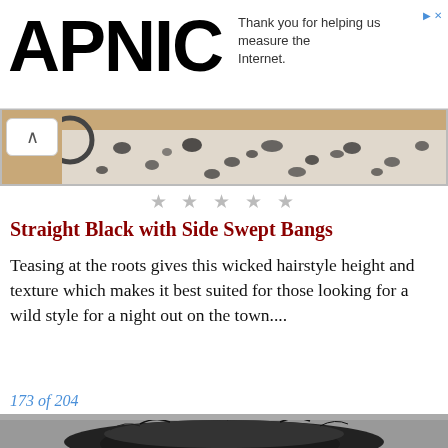APNIC — Thank you for helping us measure the Internet.
[Figure (photo): Partial view of a woman with black hoop earring and leopard-print scarf/collar, cropped to neck area. A back navigation button (^) overlaid on top-left corner.]
★ ★ ★ ★ ★
Straight Black with Side Swept Bangs
Teasing at the roots gives this wicked hairstyle height and texture which makes it best suited for those looking for a wild style for a night out on the town....
173 of 204
[Figure (photo): Bottom portion of a photo showing dark, voluminous tousled black hair against a grey background.]